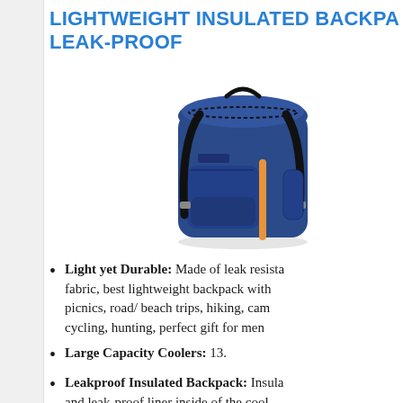LIGHTWEIGHT INSULATED BACKPA... LEAK-PROOF
[Figure (photo): Navy blue insulated cooler backpack with orange zipper accent, black shoulder straps, and front pockets]
Light yet Durable: Made of leak resista... fabric, best lightweight backpack with ... picnics, road/ beach trips, hiking, cam... cycling, hunting, perfect gift for men ...
Large Capacity Coolers: 13.
Leakproof Insulated Backpack: Insula... and leak-proof liner inside of the cool... work together to make sure anti-leak...